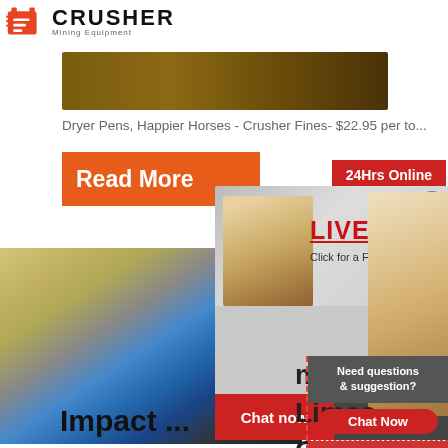[Figure (logo): Crusher Mining Equipment logo with red shopping bag icon and bold text]
[Figure (photo): Brown/tan landscape image strip at top]
Dryer Pens, Happier Horses - Crusher Fines- $22.95 per to...
[Figure (infographic): Read More orange button]
[Figure (infographic): 24Hrs Online red badge in top right]
[Figure (photo): Mining crusher machine on construction site]
[Figure (infographic): Live Chat overlay popup with workers photo, LIVE CHAT title, Click for a Free Consultation subtitle, Chat now and Chat later buttons]
[Figure (photo): Support agent woman with headset on right side]
mach
Limes
Grave
Impact ...
[Figure (infographic): Right panel with Need questions & suggestion? text, Chat Now red button, Enquiry red row, limingjlmofen@sina.com email]